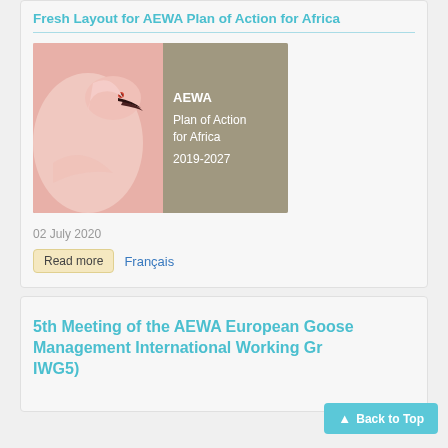Fresh Layout for AEWA Plan of Action for Africa
[Figure (photo): Book cover showing a flamingo close-up on the left and text 'AEWA Plan of Action for Africa 2019-2027' on a grey-brown background on the right]
02 July 2020
Read more   Français
5th Meeting of the AEWA European Goose Management International Working Group (EGM IWG5)